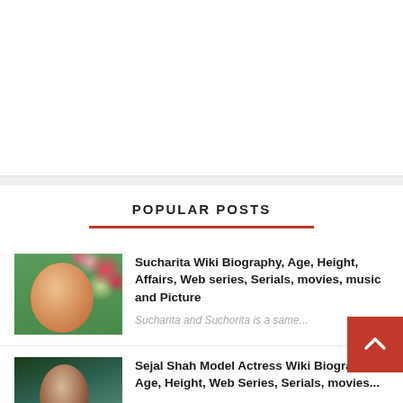[Figure (other): White blank advertisement area]
POPULAR POSTS
Sucharita Wiki Biography, Age, Height, Affairs, Web series, Serials, movies, music and Picture
Sucharita and Suchorita is a same...
Sejal Shah Model Actress Wiki Biography, Age, Height, Web Series, Serials, movies...